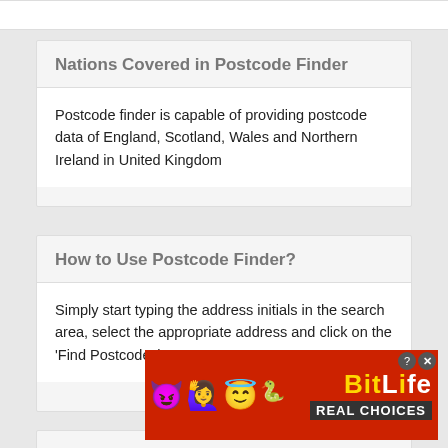Nations Covered in Postcode Finder
Postcode finder is capable of providing postcode data of England, Scotland, Wales and Northern Ireland in United Kingdom
How to Use Postcode Finder?
Simply start typing the address initials in the search area, select the appropriate address and click on the 'Find Postcode' button.
Can I Search by Postcode?
[Figure (infographic): BitLife Real Choices advertisement banner with emoji icons (devil, woman with hands up, angel face, sperm) on red background]
Yes! ... finder all th...